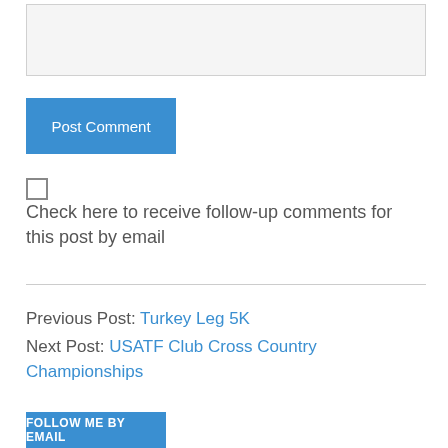[Figure (other): Text input/textarea form field with light gray background]
Post Comment
Check here to receive follow-up comments for this post by email
Previous Post: Turkey Leg 5K
Next Post: USATF Club Cross Country Championships
FOLLOW ME BY EMAIL